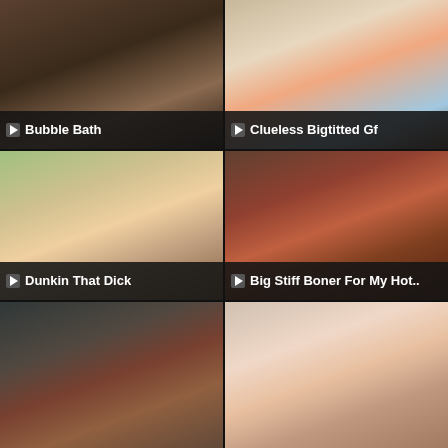[Figure (screenshot): Video thumbnail 1 - Bubble Bath]
▶ Bubble Bath
[Figure (screenshot): Video thumbnail 2 - Clueless Bigtitted Gf]
▶ Clueless Bigtitted Gf
[Figure (screenshot): Video thumbnail 3 - Dunkin That Dick]
▶ Dunkin That Dick
[Figure (screenshot): Video thumbnail 4 - Big Stiff Boner For My Hot..]
▶ Big Stiff Boner For My Hot..
[Figure (screenshot): Video thumbnail 5 - partial view]
[Figure (screenshot): Video thumbnail 6 - partial view]